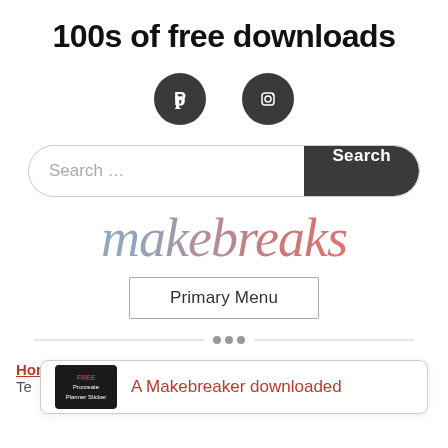100s of free downloads
[Figure (infographic): Two dark circular social media icons: Pinterest (P icon) and Instagram (camera icon)]
[Figure (infographic): Search bar with placeholder text 'Search ...' and a dark 'Search' button]
[Figure (logo): makebreaks logo in script/cursive font with gradient from blue-gray to coral-red]
Primary Menu
[Figure (illustration): Decorative horizontal divider with small diamond/dot ornaments in the center]
Home > Party Printables & Decor > Free Halloween Bat Te...
A Makebreaker downloaded